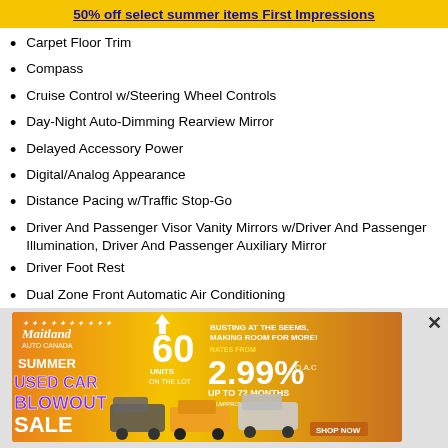50% off select summer items First Impressions
Carpet Floor Trim
Compass
Cruise Control w/Steering Wheel Controls
Day-Night Auto-Dimming Rearview Mirror
Delayed Accessory Power
Digital/Analog Appearance
Distance Pacing w/Traffic Stop-Go
Driver And Passenger Visor Vanity Mirrors w/Driver And Passenger Illumination, Driver And Passenger Auxiliary Mirror
Driver Foot Rest
Dual Zone Front Automatic Air Conditioning
Engine Immobilizer
Fade-To-Off Interior Lighting
Fixed 50-50 Split-Bench 3rd Row Seat Front, 2 Manual and Adjustable Head Restraints
[Figure (infographic): Maitland Used Car Summer Blowout Sale advertisement: 60 units on the lot, rates from 2.99% OAC up to 72 months]